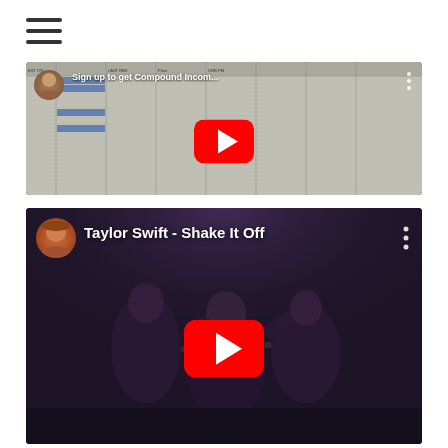[Figure (screenshot): Hamburger menu icon (three horizontal lines)]
[Figure (screenshot): YouTube video thumbnail: 'Sign up to get Compound Incom...' showing a spreadsheet with financial data and a YouTube play button overlay]
[Figure (screenshot): YouTube video thumbnail: 'Taylor Swift - Shake It Off' showing performers and a YouTube play button overlay]